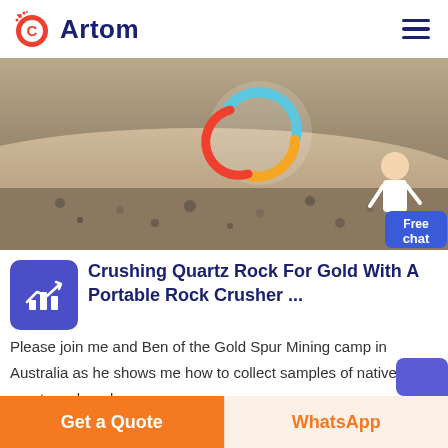Artom
[Figure (screenshot): Banner image showing crushed gravel/rock with a circular logo overlay (blue/orange/yellow swirl) and a figure of a person in white coat, with a blue 'Free chat' button in the lower right]
Crushing Quartz Rock For Gold With A Portable Rock Crusher ...
Please join me and Ben of the Gold Spur Mining camp in Australia as he shows me how to collect samples of native quartz rock and